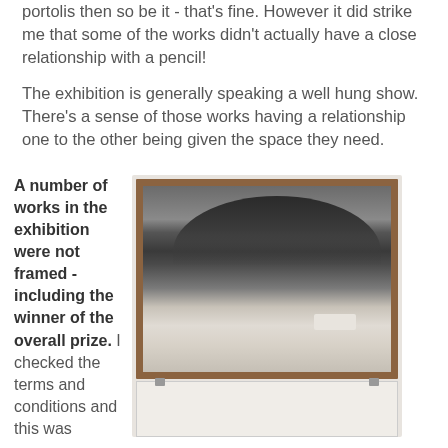portolis then so be it - that's fine. However it did strike me that some of the works didn't actually have a close relationship with a pencil!
The exhibition is generally speaking a well hung show. There's a sense of those works having a relationship one to the other being given the space they need.
A number of works in the exhibition were not framed - including the winner of the overall prize. I checked the terms and conditions and this was
[Figure (photo): A framed black and white photograph hanging on a white wall, showing a winter landscape with snow, dark conifer trees, and what appears to be a bus. Below the framed work is another unframed piece partially visible.]